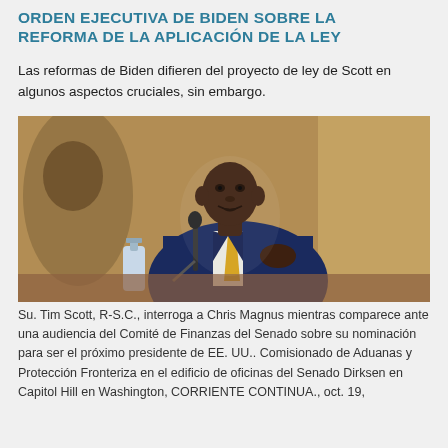ORDEN EJECUTIVA DE BIDEN SOBRE LA REFORMA DE LA APLICACIÓN DE LA LEY
Las reformas de Biden difieren del proyecto de ley de Scott en algunos aspectos cruciales, sin embargo.
[Figure (photo): Senator Tim Scott in a blue suit with yellow tie speaking into a microphone at a Senate Finance Committee hearing]
Su. Tim Scott, R-S.C., interroga a Chris Magnus mientras comparece ante una audiencia del Comité de Finanzas del Senado sobre su nominación para ser el próximo presidente de EE. UU.. Comisionado de Aduanas y Protección Fronteriza en el edificio de oficinas del Senado Dirksen en Capitol Hill en Washington, CORRIENTE CONTINUA., oct. 19,